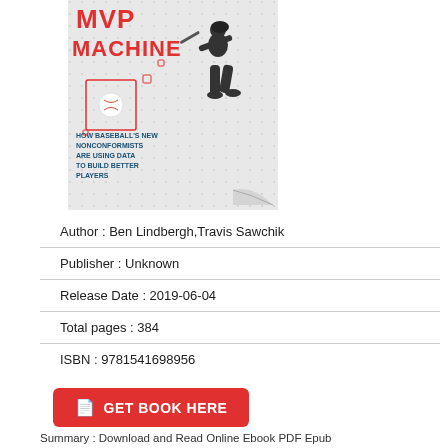[Figure (illustration): Book cover for 'The MVP Machine: How Baseball's New Nonconformists Are Using Data to Build Better Players' by Ben Lindbergh and Travis Sawchik. Cover shows a red title text at top, a baseball player silhouette batting, and subtitle text in blue.]
Author : Ben Lindbergh,Travis Sawchik
Publisher : Unknown
Release Date : 2019-06-04
Total pages : 384
ISBN : 9781541698956
GET BOOK HERE
Summary : Download and Read Online Ebook PDF Epub